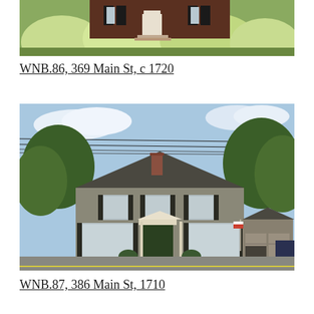[Figure (photo): Exterior photo of a historic New England house with dark shutters, white door, and flowering shrubs in front, partially cropped at top.]
WNB.86, 369 Main St, c 1720
[Figure (photo): Exterior photo of a two-story colonial style house with tan/grey siding, dark shutters, white trim, green door, and attached garage with utility lines visible overhead.]
WNB.87, 386 Main St, 1710